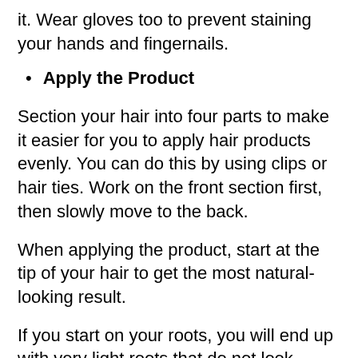it. Wear gloves too to prevent staining your hands and fingernails.
Apply the Product
Section your hair into four parts to make it easier for you to apply hair products evenly. You can do this by using clips or hair ties. Work on the front section first, then slowly move to the back.
When applying the product, start at the tip of your hair to get the most natural-looking result.
If you start on your roots, you will end up with very light roots that do not look natural. This is because the roots of your hair color faster since it is closer to the body with higher temperatures.